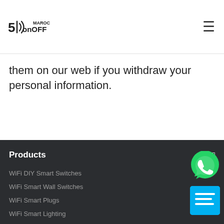Sonoff Maroc
them on our web if you withdraw your personal information.
Products
WiFi DIY Smart Switches
WiFi Smart Wall Switches
WiFi Smart Plugs
WiFi Smart Lighting
WiFi Smart Home Security
Accessories
Zigbee Devices
Company